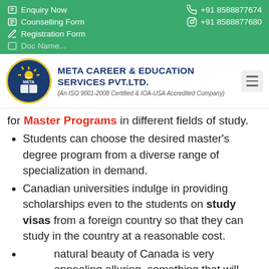Enquiry Now | Counselling Form | Registration Form | +91 8588877674 | +91 8588877680
[Figure (logo): META Career & Education Services Pvt. Ltd. circular logo with sun and book motif, yellow border]
META CAREER & EDUCATION SERVICES PVT.LTD. (An ISO 9001-2008 Certified & IOA-USA Accredited Company)
for Master Programs in different fields of study.
Students can choose the desired master's degree program from a diverse range of specialization in demand.
Canadian universities indulge in providing scholarships even to the students on study visas from a foreign country so that they can study in the country at a reasonable cost.
natural beauty of Canada is very appealing alluring, something that will mesmerize you.